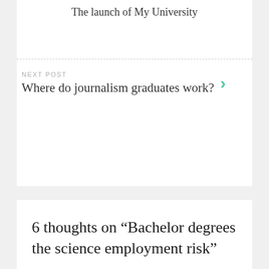The launch of My University
NEXT POST
Where do journalism graduates work?
6 thoughts on “Bachelor degrees the science employment risk”
Rajat Sood says:
APRIL 11, 2012 AT 1:41 PM
Too bad about the lost text! I wonder if the outcomes are skewed by the inclusion of life sciences in the